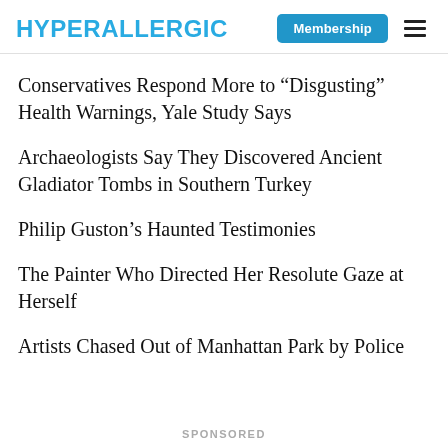HYPERALLERGIC
Conservatives Respond More to “Disgusting” Health Warnings, Yale Study Says
Archaeologists Say They Discovered Ancient Gladiator Tombs in Southern Turkey
Philip Guston’s Haunted Testimonies
The Painter Who Directed Her Resolute Gaze at Herself
Artists Chased Out of Manhattan Park by Police
SPONSORED